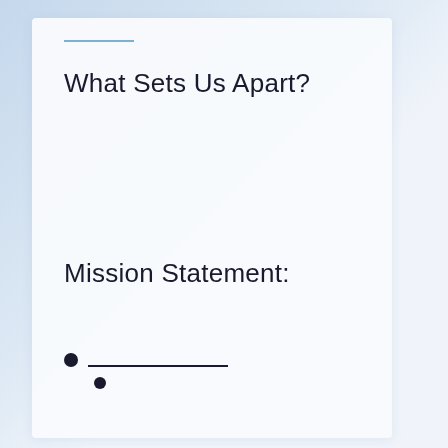What Sets Us Apart?
Mission Statement:
_______________